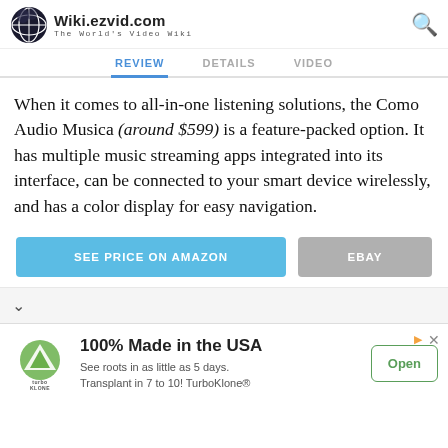Wiki.ezvid.com — The World's Video Wiki
REVIEW  DETAILS  VIDEO
When it comes to all-in-one listening solutions, the Como Audio Musica (around $599) is a feature-packed option. It has multiple music streaming apps integrated into its interface, can be connected to your smart device wirelessly, and has a color display for easy navigation.
SEE PRICE ON AMAZON  EBAY
[Figure (infographic): Advertisement: 100% Made in the USA — See roots in as little as 5 days. Transplant in 7 to 10! TurboKlone® with TurboKlone logo and Open button]